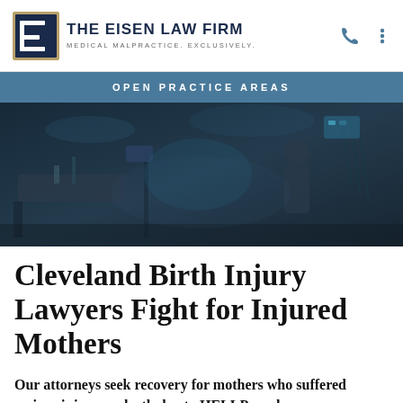THE EISEN LAW FIRM — MEDICAL MALPRACTICE. EXCLUSIVELY.
OPEN PRACTICE AREAS
[Figure (photo): Darkened photo of a hospital ICU room with medical equipment and a person in scrubs in the background]
Cleveland Birth Injury Lawyers Fight for Injured Mothers
Our attorneys seek recovery for mothers who suffered serious injury or death due to HELLP syndrome